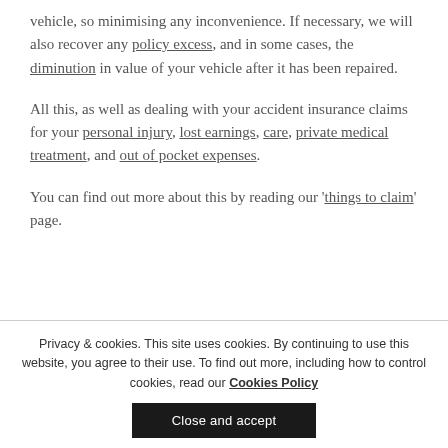vehicle, so minimising any inconvenience. If necessary, we will also recover any policy excess, and in some cases, the diminution in value of your vehicle after it has been repaired.
All this, as well as dealing with your accident insurance claims for your personal injury, lost earnings, care, private medical treatment, and out of pocket expenses.
You can find out more about this by reading our 'things to claim' page.
Privacy & cookies. This site uses cookies. By continuing to use this website, you agree to their use. To find out more, including how to control cookies, read our Cookies Policy